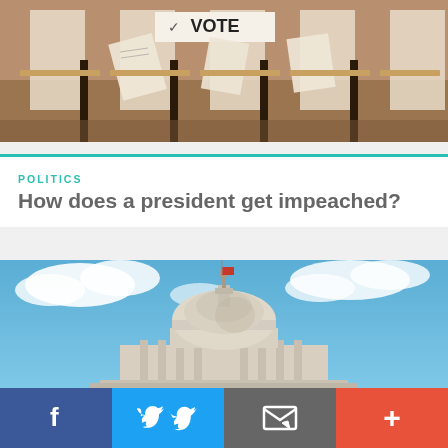[Figure (photo): Voting booths with 'VOTE' sign and ballot papers on wooden stands in a polling station]
POLITICS
How does a president get impeached?
[Figure (photo): Low angle view of the United States Capitol building dome against a blue sky with clouds]